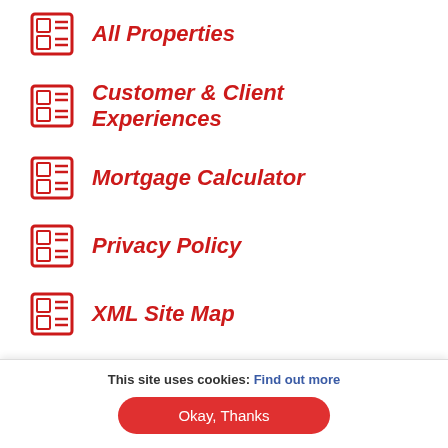All Properties
Customer & Client Experiences
Mortgage Calculator
Privacy Policy
XML Site Map
Social Media
This site uses cookies: Find out more
Okay, Thanks